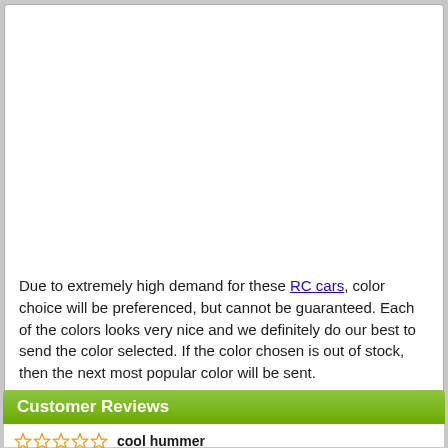Due to extremely high demand for these RC cars, color choice will be preferenced, but cannot be guaranteed. Each of the colors looks very nice and we definitely do our best to send the color selected. If the color chosen is out of stock, then the next most popular color will be sent.
Customer Reviews
cool hummer